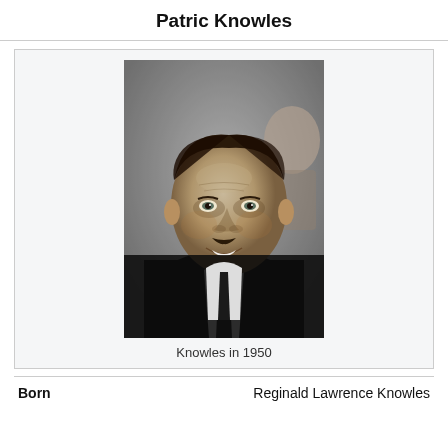Patric Knowles
[Figure (photo): Black and white portrait photo of Patric Knowles, a man with dark hair and a small mustache, smiling, wearing a suit and tie. Another person is partially visible in the background. Circa 1950.]
Knowles in 1950
| Born | Reginald Lawrence Knowles |
| --- | --- |